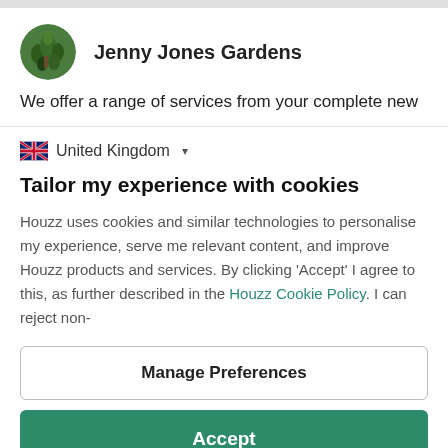[Figure (photo): Circular profile photo of a garden with green plants]
Jenny Jones Gardens
We offer a range of services from your complete new
🇬🇧 United Kingdom ▾
Tailor my experience with cookies
Houzz uses cookies and similar technologies to personalise my experience, serve me relevant content, and improve Houzz products and services. By clicking 'Accept' I agree to this, as further described in the Houzz Cookie Policy. I can reject non-
Manage Preferences
Accept